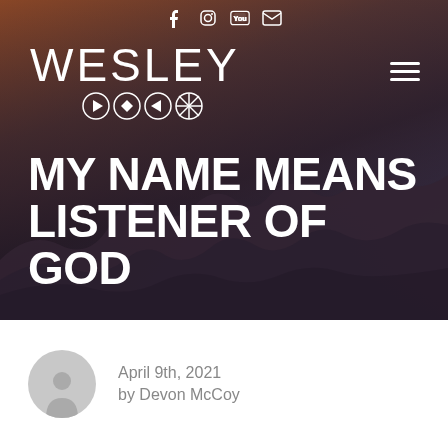[Figure (screenshot): Hero banner with mountain landscape background showing misty layered hills. Top social media icons (Facebook, Instagram, YouTube, Email). Wesley Arts logo with circular navigation icons. Hamburger menu icon on top right.]
MY NAME MEANS LISTENER OF GOD
[Figure (illustration): Generic user avatar circle with person silhouette in gray]
April 9th, 2021
by Devon McCoy